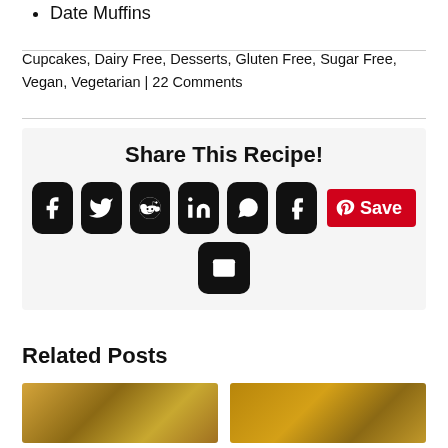Date Muffins
Cupcakes, Dairy Free, Desserts, Gluten Free, Sugar Free, Vegan, Vegetarian | 22 Comments
[Figure (infographic): Share This Recipe! section with social media icons: Facebook, Twitter, Reddit, LinkedIn, WhatsApp, Tumblr, Pinterest Save button, and Email icon]
Related Posts
[Figure (photo): Food photo thumbnail - left]
[Figure (photo): Food photo thumbnail - right]